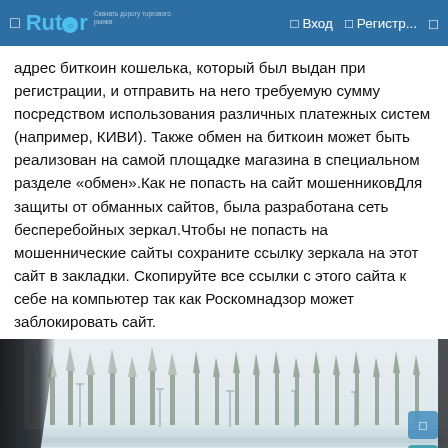Rutor | Вход | Регистр...
адрес биткоин кошелька, который был выдан при регистрации, и отправить на него требуемую сумму посредством использования различных платежных систем (например, КИВИ). Также обмен на биткоин может быть реализован на самой площадке магазина в специальном разделе «обмен».Как не попасть на сайт мошенниковДля защиты от обманных сайтов, была разработана сеть бесперебойных зеркал.Чтобы не попасть на мошеннические сайты сохраните ссылку зеркала на этот сайт в закладки. Скопируйте все ссылки с этого сайта к себе на компьютер так как Роскомнадзор может заблокировать сайт.
[Figure (photo): View from inside a car through windshield, showing snowy winter landscape with trees and light poles in background. Car interior visible with dark dashboard and steering wheel.]